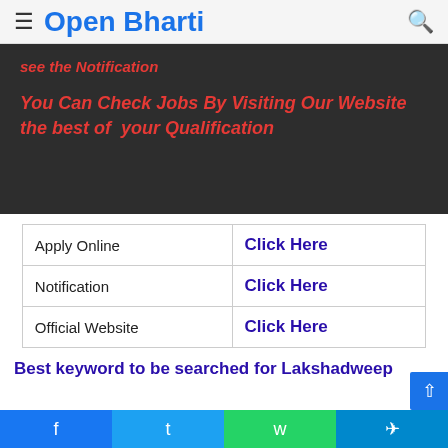Open Bharti
see the Notification

You Can Check Jobs By Visiting Our Website the best of your Qualification
|  |  |
| --- | --- |
| Apply Online | Click Here |
| Notification | Click Here |
| Official Website | Click Here |
Best keyword to be searched for Lakshadweep